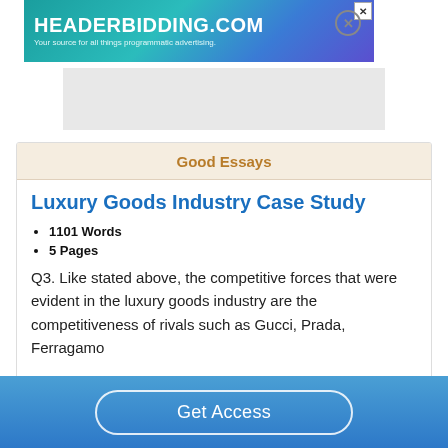[Figure (screenshot): HeaderBidding.com advertisement banner with teal/blue gradient background. Text reads HEADERBIDDING.COM and Your source for all things programmatic advertising.]
[Figure (other): Gray placeholder rectangle for an ad or image block]
Good Essays
Luxury Goods Industry Case Study
1101 Words
5 Pages
Q3. Like stated above, the competitive forces that were evident in the luxury goods industry are the competitiveness of rivals such as Gucci, Prada, Ferragamo
Get Access